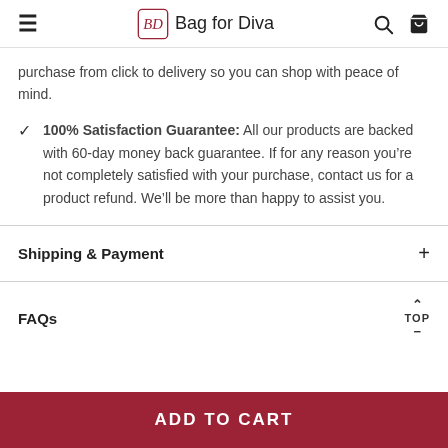Bag for Diva
purchase from click to delivery so you can shop with peace of mind.
100% Satisfaction Guarantee: All our products are backed with 60-day money back guarantee. If for any reason you’re not completely satisfied with your purchase, contact us for a product refund. We’ll be more than happy to assist you.
Shipping & Payment
FAQs
ADD TO CART